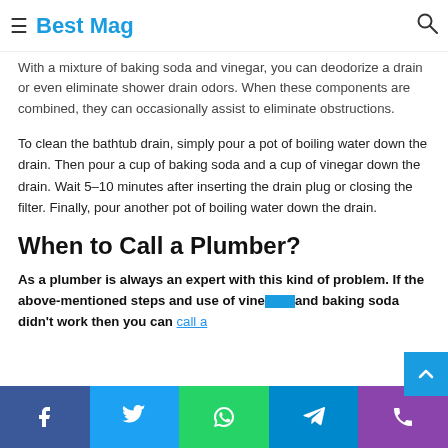Best Mag
With a mixture of baking soda and vinegar, you can deodorize a drain or even eliminate shower drain odors. When these components are combined, they can occasionally assist to eliminate obstructions.
To clean the bathtub drain, simply pour a pot of boiling water down the drain. Then pour a cup of baking soda and a cup of vinegar down the drain. Wait 5–10 minutes after inserting the drain plug or closing the filter. Finally, pour another pot of boiling water down the drain.
When to Call a Plumber?
As a plumber is always an expert with this kind of problem. If the above-mentioned steps and use of vinegar and baking soda didn't work then you can call a
Facebook Twitter WhatsApp Telegram Phone